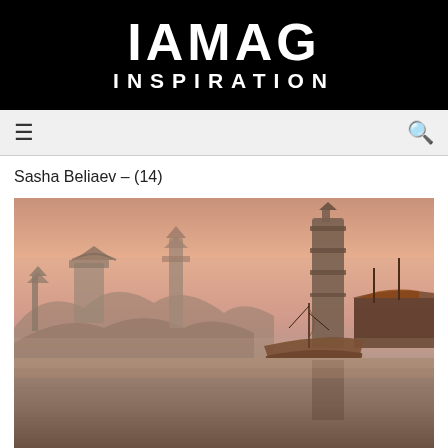IAMAG INSPIRATION
Sasha Beliaev – (14)
[Figure (illustration): Fantasy concept art painting by Sasha Beliaev showing ancient boats on a misty harbor at sunset with a tall tower and Asian-style architecture in the background, painted in warm orange-pink tones.]